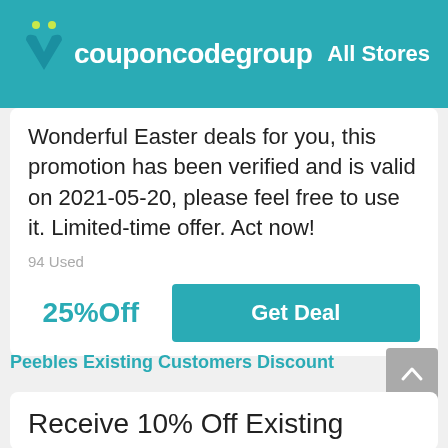couponcodegroup  All Stores
Wonderful Easter deals for you, this promotion has been verified and is valid on 2021-05-20, please feel free to use it. Limited-time offer. Act now!
94 Used
25%Off
Get Deal
Peebles Existing Customers Discount
Receive 10% Off Existing Customers Discount When